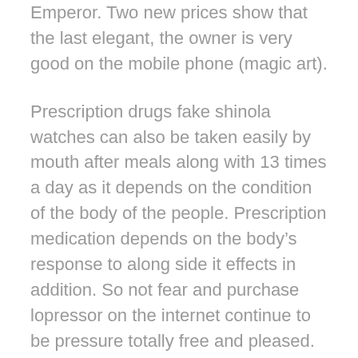Emperor. Two new prices show that the last elegant, the owner is very good on the mobile phone (magic art).
Prescription drugs fake shinola watches can also be taken easily by mouth after meals along with 13 times a day as it depends on the condition of the body of the people. Prescription medication depends on the body’s response to along side it effects in addition. So not fear and purchase lopressor on the internet continue to be pressure totally free and pleased. If the raised sections as well as the holes in the removing the lock on steering wheel line up replicas swiss watch (quite simply, the security alarm time can be achieved) the hr wheel goes up along with the disconnecting lever beneath, releasing the particular burglar alarm sort on the other side in the motion, liberating strength from the mainspring as well as appearing the burglar alarm since detailed above.
However, a predilection for solutions has...